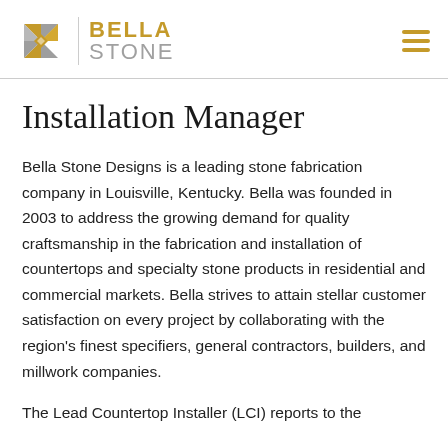[Figure (logo): Bella Stone logo with geometric diamond/star shape in gold and grey, vertical divider, BELLA in gold bold text and STONE in grey text]
Installation Manager
Bella Stone Designs is a leading stone fabrication company in Louisville, Kentucky. Bella was founded in 2003 to address the growing demand for quality craftsmanship in the fabrication and installation of countertops and specialty stone products in residential and commercial markets. Bella strives to attain stellar customer satisfaction on every project by collaborating with the region's finest specifiers, general contractors, builders, and millwork companies.
The Lead Countertop Installer (LCI) reports to the